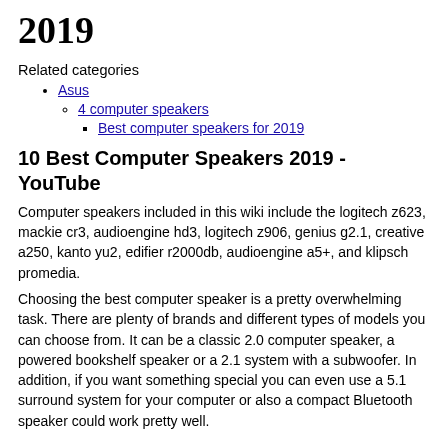2019
Related categories
Asus
4 computer speakers
Best computer speakers for 2019
10 Best Computer Speakers 2019 - YouTube
Computer speakers included in this wiki include the logitech z623, mackie cr3, audioengine hd3, logitech z906, genius g2.1, creative a250, kanto yu2, edifier r2000db, audioengine a5+, and klipsch promedia.
Choosing the best computer speaker is a pretty overwhelming task. There are plenty of brands and different types of models you can choose from. It can be a classic 2.0 computer speaker, a powered bookshelf speaker or a 2.1 system with a subwoofer. In addition, if you want something special you can even use a 5.1 surround system for your computer or also a compact Bluetooth speaker could work pretty well.